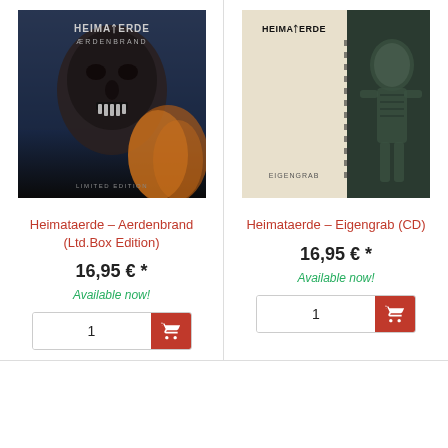[Figure (illustration): Album cover for Heimataerde - Aerdenbrand Limited Edition showing a dark warrior skull/mask with fire in background]
Heimataerde – Aerdenbrand (Ltd.Box Edition)
16,95 € *
Available now!
[Figure (illustration): Album cover for Heimataerde - Eigengrab CD showing a split cream/dark green cover with skeleton/stone figure and EIGENGRAB text]
Heimataerde – Eigengrab (CD)
16,95 € *
Available now!